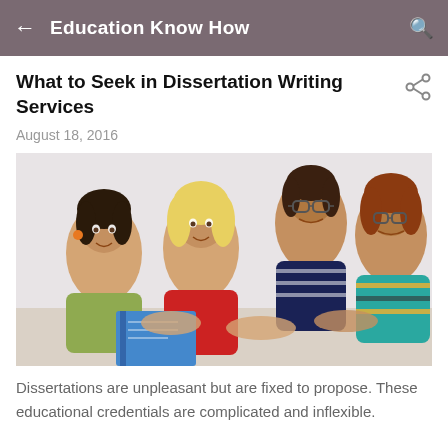Education Know How
What to Seek in Dissertation Writing Services
August 18, 2016
[Figure (photo): Four smiling students (two women, one man with glasses, one woman with glasses) leaning over a table with notebooks, posed cheerfully together.]
Dissertations are unpleasant but are fixed to propose. These educational credentials are complicated and inflexible.